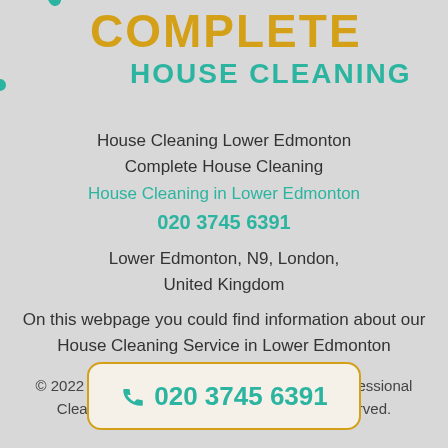[Figure (logo): Complete House Cleaning logo with teal partial circle on left, gold text COMPLETE and teal text HOUSE CLEANING]
House Cleaning Lower Edmonton
Complete House Cleaning
House Cleaning in Lower Edmonton
020 3745 6391
Lower Edmonton, N9, London, United Kingdom
On this webpage you could find information about our House Cleaning Service in Lower Edmonton
© 2022 Complete House Cleaning London | Professional Cleaning Services in London. All Rights Reserved.
[Figure (infographic): Phone call button with teal phone icon and number 020 3745 6391, bordered in gold/amber with rounded rectangle]